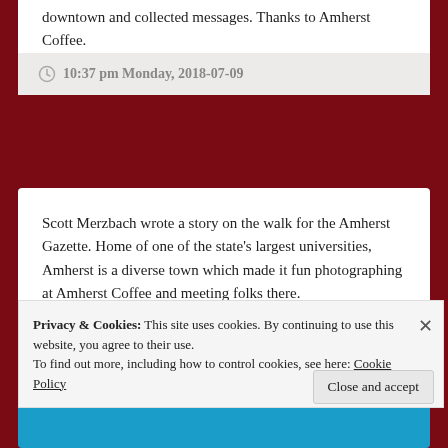downtown and collected messages. Thanks to Amherst Coffee.
10:37 pm Monday, 2018-07-09
Scott Merzbach wrote a story on the walk for the Amherst Gazette. Home of one of the state's largest universities, Amherst is a diverse town which made it fun photographing at Amherst Coffee and meeting folks there.
https://www.gazettenet.com/BJ-Hill-collect-messages-for-the-next-governor-18715479
Privacy & Cookies: This site uses cookies. By continuing to use this website, you agree to their use.
To find out more, including how to control cookies, see here: Cookie Policy
Close and accept